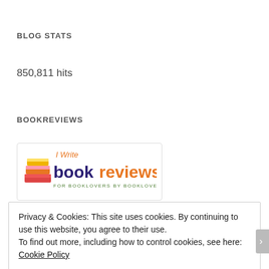BLOG STATS
850,811 hits
BOOKREVIEWS
[Figure (logo): I Write bookreviews logo — stacked books icon with 'I Write' above 'bookreviews' in purple and orange, tagline 'FOR BOOKLOVERS BY BOOKLOVERS' in green]
Privacy & Cookies: This site uses cookies. By continuing to use this website, you agree to their use.
To find out more, including how to control cookies, see here: Cookie Policy
Close and accept